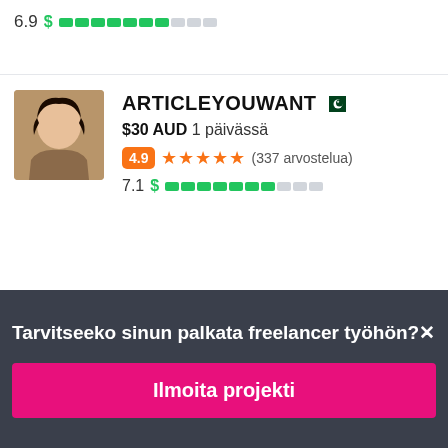6.9  $ ████████░░░
[Figure (screenshot): Freelancer profile card for ARTICLEYOUWANT with Pakistan flag, $30 AUD 1 päivässä, rating 4.9 (337 arvostelua), score 7.1 with green bar]
Tarvitseeko sinun palkata freelancer työhön?
Ilmoita projekti